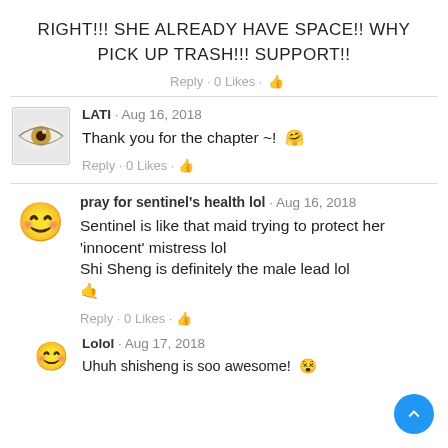RIGHT!!! SHE ALREADY HAVE SPACE!! WHY PICK UP TRASH!!! SUPPORT!!
Reply · 0 Likes · 👍
LATI · Aug 16, 2018
Thank you for the chapter ~! 😊
Reply · 0 Likes · 👍
pray for sentinel's health lol · Aug 16, 2018
Sentinel is like that maid trying to protect her 'innocent' mistress lol
Shi Sheng is definitely the male lead lol 🤣
Reply · 0 Likes · 👍
Lolol · Aug 17, 2018
Uhuh shisheng is soo awesome! 🤩